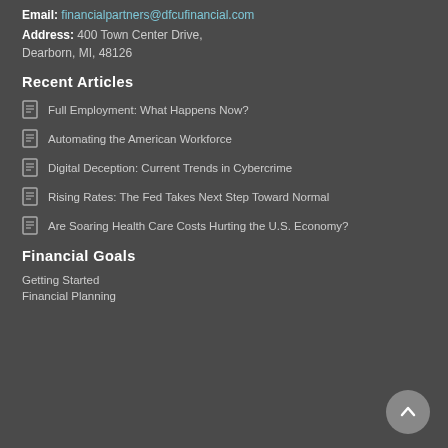Email: financialpartners@dfcufinancial.com
Address: 400 Town Center Drive, Dearborn, MI, 48126
Recent Articles
Full Employment: What Happens Now?
Automating the American Workforce
Digital Deception: Current Trends in Cybercrime
Rising Rates: The Fed Takes Next Step Toward Normal
Are Soaring Health Care Costs Hurting the U.S. Economy?
Financial Goals
Getting Started
Financial Planning